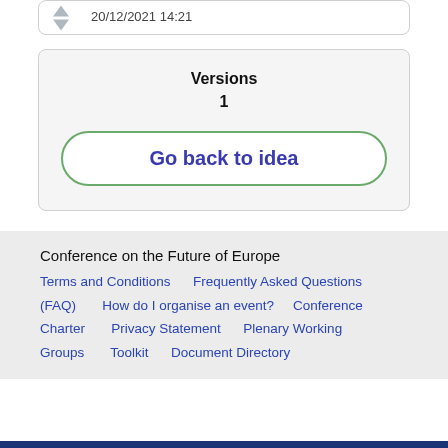20/12/2021 14:21
Versions
1
Go back to idea
Conference on the Future of Europe
Terms and Conditions   Frequently Asked Questions (FAQ)   How do I organise an event?   Conference Charter   Privacy Statement   Plenary Working Groups   Toolkit   Document Directory